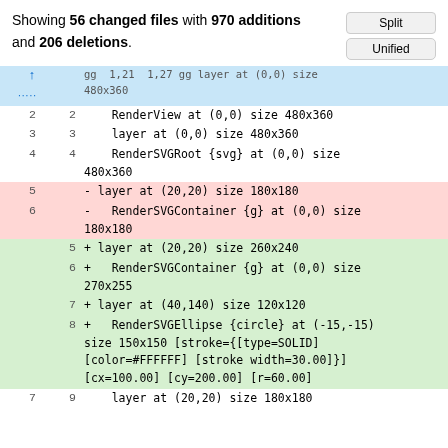Showing 56 changed files with 970 additions and 206 deletions.
| old | new | code |
| --- | --- | --- |
| ↑ |  | gg 1,21 1,27 gg layer at (0,0) size 480x360 |
| 2 | 2 |     RenderView at (0,0) size 480x360 |
| 3 | 3 |     layer at (0,0) size 480x360 |
| 4 | 4 |       RenderSVGRoot {svg} at (0,0) size 480x360 |
| 5 |  | - layer at (20,20) size 180x180 |
| 6 |  | -   RenderSVGContainer {g} at (0,0) size 180x180 |
|  | 5 | + layer at (20,20) size 260x240 |
|  | 6 | +   RenderSVGContainer {g} at (0,0) size 270x255 |
|  | 7 | + layer at (40,140) size 120x120 |
|  | 8 | +   RenderSVGEllipse {circle} at (-15,-15) size 150x150 [stroke={[type=SOLID] [color=#FFFFFF] [stroke width=30.00]}] [cx=100.00] [cy=200.00] [r=60.00] |
| 7 | 9 |     layer at (20,20) size 180x180 |